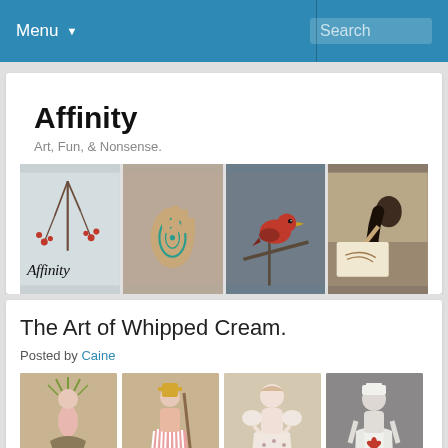Menu  Search
Affinity
Art, Fun, & Nonsense.
[Figure (photo): Banner strip of four images: winter berries/Affinity logo, teal henna hand tattoo, red finch bird, artist drawing]
The Art of Whipped Cream.
Posted by Caine
[Figure (photo): Grid of eight whimsical character illustrations on tan/beige background in whipped-cream candy style]
[Figure (photo): Bottom row of partially visible character illustrations]